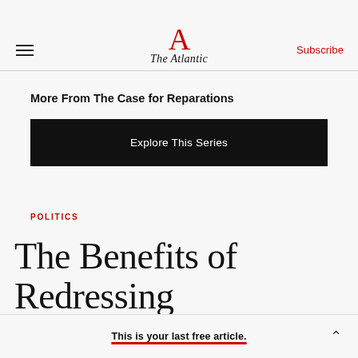The Atlantic
More From The Case for Reparations
Explore This Series
POLITICS
The Benefits of Redressing
This is your last free article.